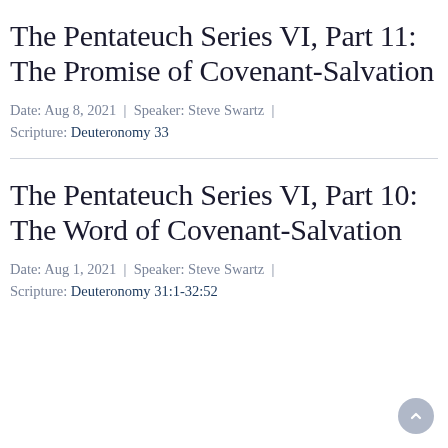The Pentateuch Series VI, Part 11: The Promise of Covenant-Salvation
Date: Aug 8, 2021  |  Speaker: Steve Swartz  |  Scripture: Deuteronomy 33
The Pentateuch Series VI, Part 10: The Word of Covenant-Salvation
Date: Aug 1, 2021  |  Speaker: Steve Swartz  |  Scripture: Deuteronomy 31:1-32:52